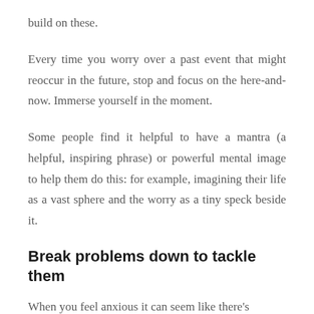build on these.
Every time you worry over a past event that might reoccur in the future, stop and focus on the here-and-now. Immerse yourself in the moment.
Some people find it helpful to have a mantra (a helpful, inspiring phrase) or powerful mental image to help them do this: for example, imagining their life as a vast sphere and the worry as a tiny speck beside it.
Break problems down to tackle them
When you feel anxious it can seem like there's